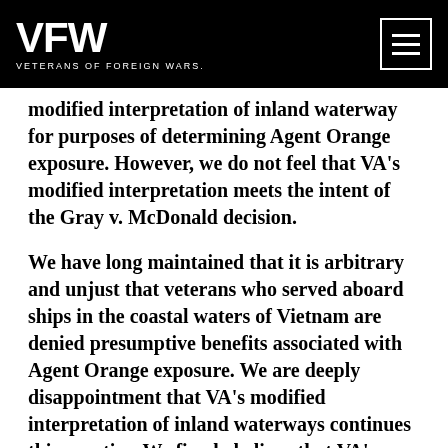VFW VETERANS OF FOREIGN WARS.
modified interpretation of inland waterway for purposes of determining Agent Orange exposure. However, we do not feel that VA’s modified interpretation meets the intent of the Gray v. McDonald decision.
We have long maintained that it is arbitrary and unjust that veterans who served aboard ships in the coastal waters of Vietnam are denied presumptive benefits associated with Agent Orange exposure. We are deeply disappointment that VA’s modified interpretation of inland waterways continues this practice. We firmly believe that VA’s modified interpretation will continue to exclude veterans that were exposed to significant levels of toxins who must be granted the same presumption of service connection as their counterparts who served on the mainland of Vietnam. For this reason, the VFW continues to urge Congress to swiftly pass the Blue Water